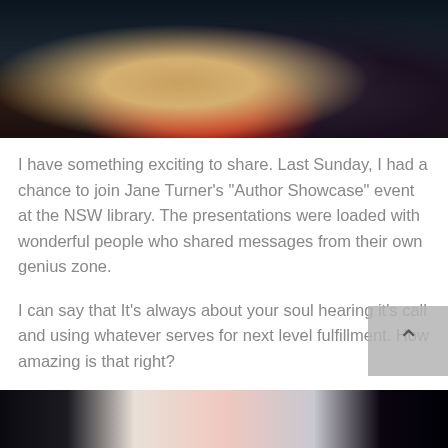[Figure (photo): Person in beige/cream blazer with red scarf speaking at a podium with a microphone, dark background]
I have something exciting to share. Last Sunday, I had a chance to join Jane Turner’s “Author Showcase” event at the NSW library. The presentations were loaded with wonderful people who shared messages from their own genius zone.
I can say that It’s always about your soul hearing it’s call and using whatever serves for next level fulfillment. How amazing is that right?
[Figure (photo): Partial view of another photo at the bottom of the page, showing dark edges with a light/pinkish center element]